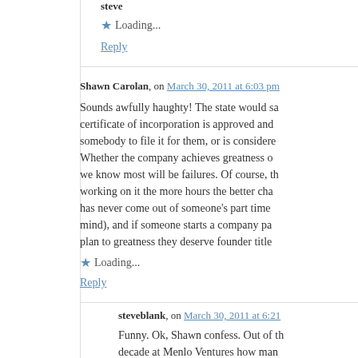steve
Loading...
Reply
Shawn Carolan, on March 30, 2011 at 6:03 pm
Sounds awfully haughty! The state would sa... certificate of incorporation is approved and ... somebody to file it for them, or is considere... Whether the company achieves greatness ... we know most will be failures. Of course, th... working on it the more hours the better cha... has never come out of someone's part time ... mind), and if someone starts a company pa... plan to greatness they deserve founder title...
Loading...
Reply
steveblank, on March 30, 2011 at 6:21
Funny. Ok, Shawn confess. Out of t... decade at Menlo Ventures how man... partners? If an entrepreneur walked into your ...